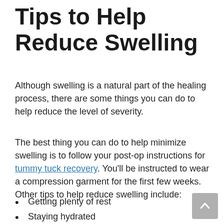Tips to Help Reduce Swelling
Although swelling is a natural part of the healing process, there are some things you can do to help reduce the level of severity.
The best thing you can do to help minimize swelling is to follow your post-op instructions for tummy tuck recovery. You'll be instructed to wear a compression garment for the first few weeks. Other tips to help reduce swelling include:
Getting plenty of rest
Staying hydrated
Eating a healthy diet low in sodium